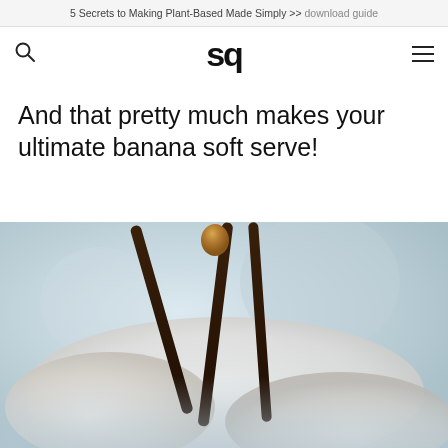5 Secrets to Making Plant-Based Made Simply >> download guide
sq
And that pretty much makes your ultimate banana soft serve!
[Figure (photo): Close-up photo of banana soft serve ice cream in a white bowl with chocolate sauce drizzled over it, blurred background with kitchen elements]